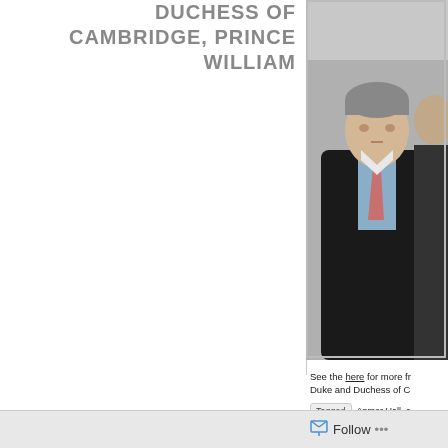DUCHESS OF CAMBRIDGE, PRINCE WILLIAM
[Figure (photo): A man in a dark coat and pink tie, photographed outdoors, partial view showing upper body and face with grey hair]
See the here for more fr Duke and Duchess of C
Tagged  Anmer Hall,  Duke of Cambridge, Kat
Follow ...